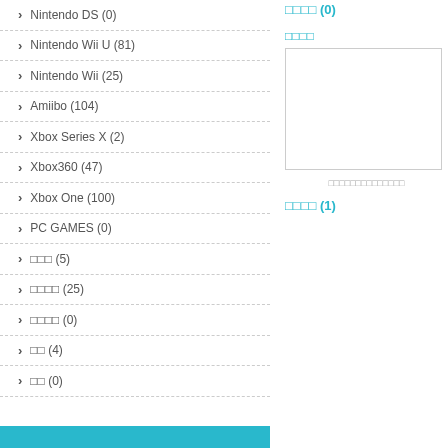Nintendo DS (0)
Nintendo Wii U (81)
Nintendo Wii (25)
Amiibo (104)
Xbox Series X (2)
Xbox360 (47)
Xbox One (100)
PC GAMES (0)
□□□ (5)
□□□□ (25)
□□□□ (0)
□□ (4)
□□ (0)
□□□□ (0)
□□□□
□□□□□□□□□□□□□□
□□□□ (1)